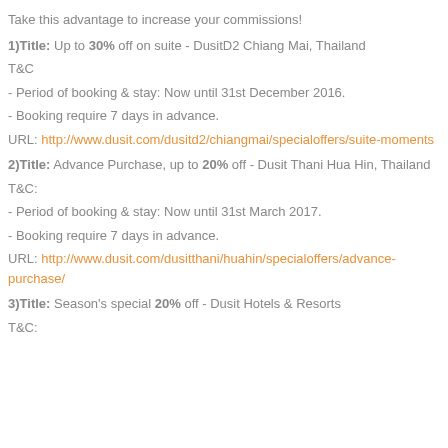Take this advantage to increase your commissions!
1)Title: Up to 30% off on suite - DusitD2 Chiang Mai, Thailand
T&C
- Period of booking & stay: Now until 31st December 2016.
- Booking require 7 days in advance.
URL: http://www.dusit.com/dusitd2/chiangmai/specialoffers/suite-moments
2)Title: Advance Purchase, up to 20% off - Dusit Thani Hua Hin, Thailand
T&C:
- Period of booking & stay: Now until 31st March 2017.
- Booking require 7 days in advance.
URL: http://www.dusit.com/dusitthani/huahin/specialoffers/advance-purchase/
3)Title: Season's special 20% off - Dusit Hotels & Resorts
T&C: